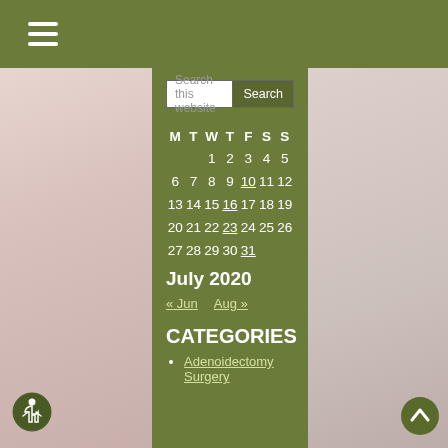☰ (hamburger menu)
Search this website | Search
| M | T | W | T | F | S | S |
| --- | --- | --- | --- | --- | --- | --- |
|  |  | 1 | 2 | 3 | 4 | 5 |
| 6 | 7 | 8 | 9 | 10 | 11 | 12 |
| 13 | 14 | 15 | 16 | 17 | 18 | 19 |
| 20 | 21 | 22 | 23 | 24 | 25 | 26 |
| 27 | 28 | 29 | 30 | 31 |  |  |
July 2020
« Jun   Aug »
CATEGORIES
Adenoidectomy Surgery